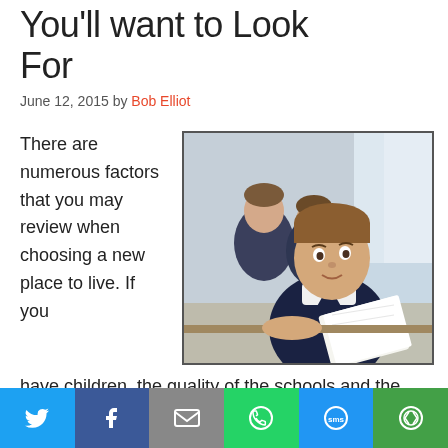You'll want to Look For
June 12, 2015 by Bob Elliot
There are numerous factors that you may review when choosing a new place to live. If you have children, the quality of the schools and the level of education that your kids will receive is
[Figure (photo): School children sitting at desks in a classroom, a young boy in the foreground looking at the camera holding an open book]
[Figure (infographic): Social media sharing bar at the bottom: Twitter, Facebook, Email, WhatsApp, SMS, More icons]